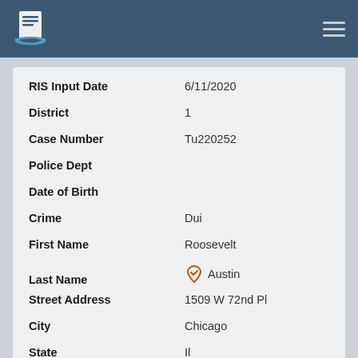[Figure (logo): Document/file logo icon in white on teal header bar]
| Field | Value |
| --- | --- |
| RIS Input Date | 6/11/2020 |
| District | 1 |
| Case Number | Tu220252 |
| Police Dept |  |
| Date of Birth |  |
| Crime | Dui |
| First Name | Roosevelt |
| Last Name | Austin |
| Street Address | 1509 W 72nd Pl |
| City | Chicago |
| State | Il |
| Zip | 60636-4025 |
| Telephone Number |  |
| Do Not Call |  |
| Do Not Call Date |  |
| Appearance Date |  |
| Ethnic Origin | Other |
| Census Age | 32 |